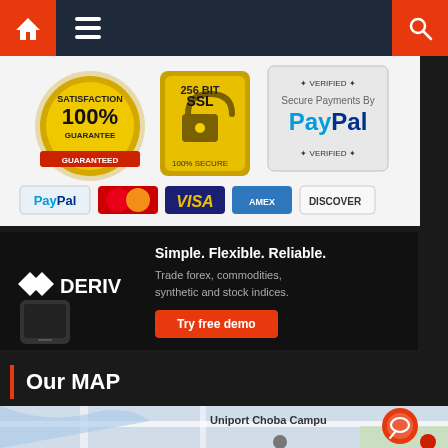Navigation bar with home, menu, and search icons
[Figure (infographic): 100% Satisfaction Guarantee badge, 256-bit SSL 100% Secure padlock, PayPal Verified badge, and payment method logos: PayPal, MasterCard, VISA, American Express, Discover]
[Figure (infographic): Deriv advertisement: Simple. Flexible. Reliable. Trade forex, commodities, synthetic and stock indices. Try free demo button. Deriv logo on left with phone image.]
Our MAP
[Figure (map): Google Maps showing Uniport Choba Campus area with roads and a chat bubble icon overlay]